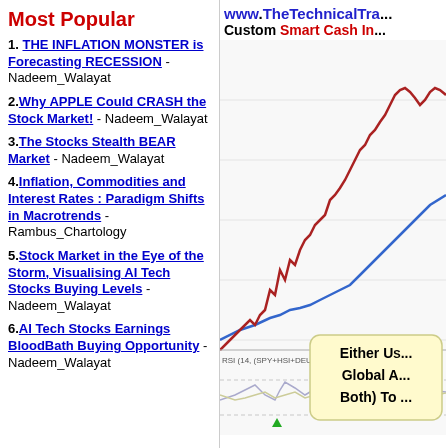Most Popular
1. THE INFLATION MONSTER is Forecasting RECESSION - Nadeem_Walayat
2. Why APPLE Could CRASH the Stock Market! - Nadeem_Walayat
3. The Stocks Stealth BEAR Market - Nadeem_Walayat
4. Inflation, Commodities and Interest Rates : Paradigm Shifts in Macrotrends - Rambus_Chartology
5. Stock Market in the Eye of the Storm, Visualising AI Tech Stocks Buying Levels - Nadeem_Walayat
6. AI Tech Stocks Earnings BloodBath Buying Opportunity - Nadeem_Walayat
[Figure (line-chart): Multi-line chart showing RSI (14, SPY-HSI-DEU40-NKY) with red and blue trend lines rising over time. A yellow tooltip box reads 'Either US... Global A... Both) To...' with a green arrow indicator at the bottom. Chart header shows www.TheTechnicalTra... Custom Smart Cash In...]